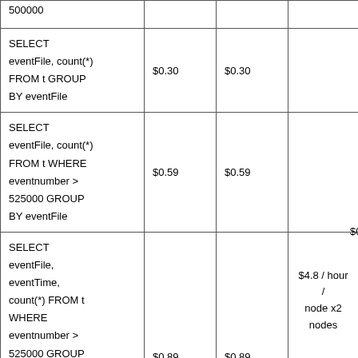| 500000 |  |  |  |
| SELECT eventFile, count(*) FROM t GROUP BY eventFile | $0.30 | $0.30 |  |
| SELECT eventFile, count(*) FROM t WHERE eventnumber > 525000 GROUP BY eventFile | $0.59 | $0.59 |  |
| SELECT eventFile, eventTime, count(*) FROM t WHERE eventnumber > 525000 GROUP BY ... | $0.89 | $0.89 | $4.8 / hour / node x2 nodes | $0... |